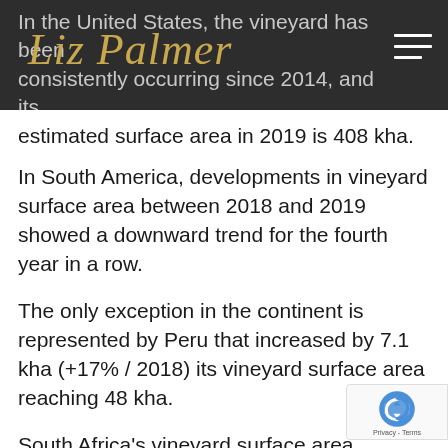Liz Palmer
In the United States, the vineyard has been consistently decreasing since 2014, and its estimated surface area in 2019 is 408 kha.
In South America, developments in vineyard surface area between 2018 and 2019 showed a downward trend for the fourth year in a row.
The only exception in the continent is represented by Peru that increased by 7.1 kha (+17% / 2018) its vineyard surface area reaching 48 kha.
South Africa's vineyard surface area remained stable with respect to 2018, at 128 kha.